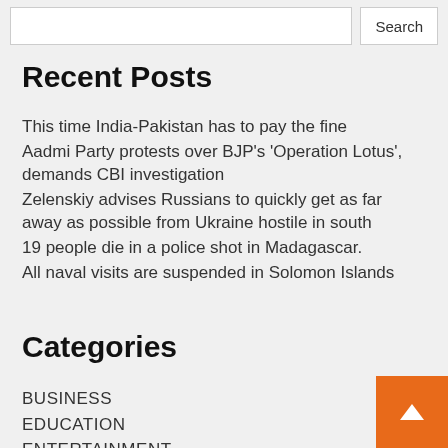Search
Recent Posts
This time India-Pakistan has to pay the fine
Aadmi Party protests over BJP’s ‘Operation Lotus’, demands CBI investigation
Zelenskiy advises Russians to quickly get as far away as possible from Ukraine hostile in south
19 people die in a police shot in Madagascar.
All naval visits are suspended in Solomon Islands
Categories
BUSINESS
EDUCATION
ENTERTAINMENT